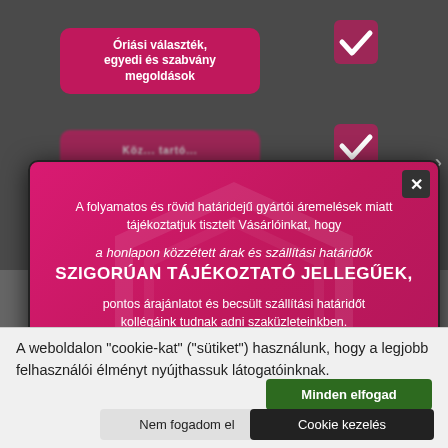[Figure (screenshot): Background of a website with dark gray background showing pink/magenta rounded button labeled 'Óriási választék, egyedi és szabvány megoldások' with a checkmark icon, and another partially visible pink button below it.]
[Figure (screenshot): Modal popup dialog with magenta/pink background containing a shield watermark, close button (×), text in Hungarian about price increases and informational nature of prices, and jola.hu branding with shield logo at bottom right.]
A folyamatos és rövid határidejű gyártói áremelések miatt tájékoztatjuk tisztelt Vásárlóinkat, hogy
a honlapon közzétett árak és szállítási határidők SZIGORÚAN TÁJÉKOZTATÓ JELLEGŰEK,
pontos árajánlatot és becsült szállítási határidőt kollégáink tudnak adni szaküzleteinkben.
Megértésüket köszönjük!
jola.hu
A weboldalon "cookie-kat" ("sütiket") használunk, hogy a legjobb felhasználói élményt nyújthassuk látogatóinknak.
Minden elfogad
Nem fogadom el
Cookie kezelés